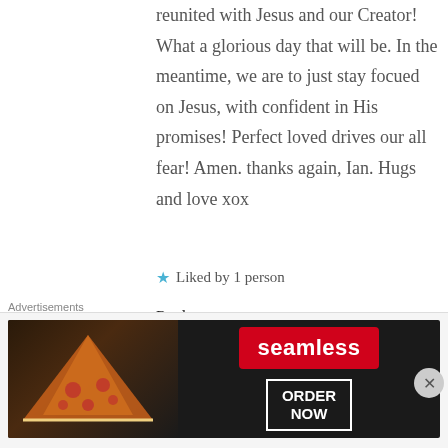reunited with Jesus and our Creator! What a glorious day that will be. In the meantime, we are to just stay focued on Jesus, with confident in His promises! Perfect loved drives our all fear! Amen. thanks again, Ian. Hugs and love xox
★ Liked by 1 person
Reply
Joe says:
[Figure (screenshot): Seamless food delivery advertisement banner with pizza image, Seamless logo in red, and ORDER NOW button]
Advertisements